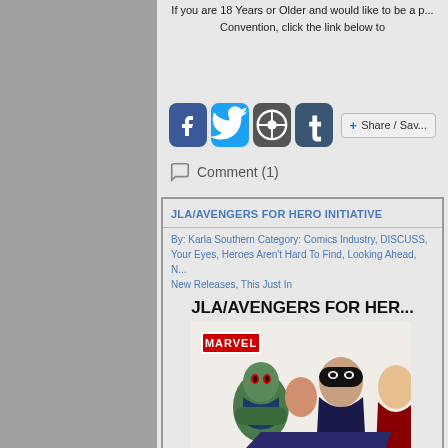If you are 18 Years or Older and would like to be a p... Convention, click the link below to
[Figure (screenshot): Social media sharing icons: Facebook (blue), Twitter (blue), WordPress (dark gray), Tumblr (dark blue), and Share/Save button]
Comment (1)
JLA/AVENGERS FOR HERO INITIATIVE
By: Karla Southern Category: Comics Industry, DISCUSS, Your Eyes, Heroes Aren't Hard To Find, Looking Ahead, N... New Releases, This Just In
JLA/AVENGERS FOR HER...
[Figure (illustration): JLA/Avengers comic book cover art showing Marvel logo and superhero characters including a green-skinned character and a masked hero]